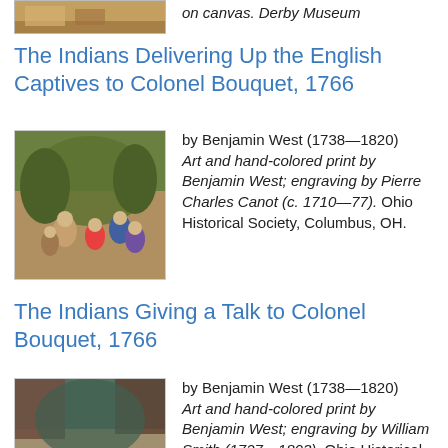on canvas. Derby Museum
The Indians Delivering Up the English Captives to Colonel Bouquet, 1766
[Figure (illustration): Hand-colored print showing a group scene with Native Americans and English captives under trees]
by Benjamin West (1738—1820) Art and hand-colored print by Benjamin West; engraving by Pierre Charles Canot (c. 1710—77). Ohio Historical Society, Columbus, OH.
The Indians Giving a Talk to Colonel Bouquet, 1766
[Figure (illustration): Hand-colored print showing a council or talk scene between Native Americans and Colonel Bouquet]
by Benjamin West (1738—1820) Art and hand-colored print by Benjamin West; engraving by William Smith (1727—1803). Ohio Historical Society, Columbus, OH.